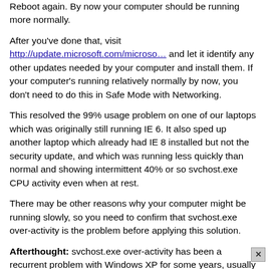Reboot again. By now your computer should be running more normally.
After you've done that, visit http://update.microsoft.com/microso… and let it identify any other updates needed by your computer and install them. If your computer's running relatively normally by now, you don't need to do this in Safe Mode with Networking.
This resolved the 99% usage problem on one of our laptops which was originally still running IE 6. It also sped up another laptop which already had IE 8 installed but not the security update, and which was running less quickly than normal and showing intermittent 40% or so svchost.exe CPU activity even when at rest.
There may be other reasons why your computer might be running slowly, so you need to confirm that svchost.exe over-activity is the problem before applying this solution.
Afterthought: svchost.exe over-activity has been a recurrent problem with Windows XP for some years, usually tied to Windows Automatic Updates or sometimes installation of proprietary software (e.g. from Hewlett Packard) that uses an updater.
One simple solution doing the rounds is to disable Windows Automatic Updates, but that can lead to its own problems over time.
Other solutions require more tinkering under Windows XP's hood. At th